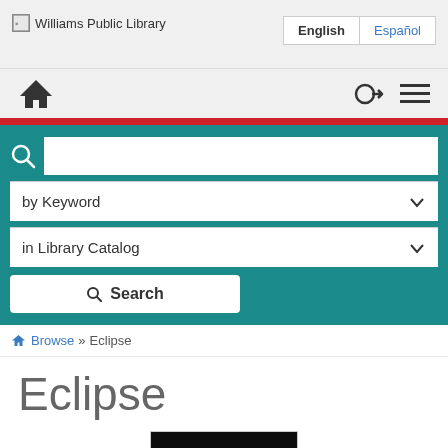[Figure (screenshot): Williams Public Library logo — broken image icon followed by text 'Williams Public Library']
[Figure (screenshot): Language selector buttons: 'English' (active) and 'Español']
[Figure (screenshot): Navigation bar with home icon on left, login and hamburger menu icons on right]
[Figure (screenshot): Red stripe divider]
[Figure (screenshot): Search section with teal background: search input box with magnifying glass, 'by Keyword' dropdown, 'in Library Catalog' dropdown, and Search button]
Browse » Eclipse
Eclipse
[Figure (photo): Book cover of 'Eclipse' — dark background with a red/orange flower-like image and the word 'eclipse' in white text]